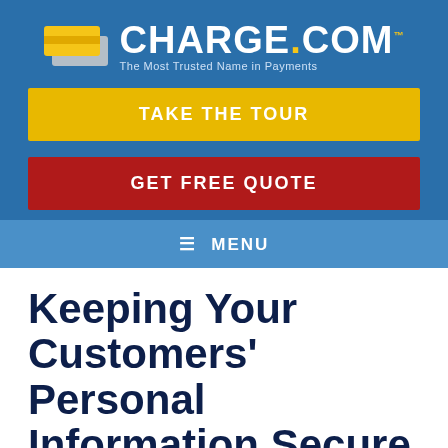[Figure (logo): Charge.com logo with credit card icon, brand name CHARGE.COM in white/yellow, tagline 'The Most Trusted Name in Payments']
[Figure (other): Yellow 'TAKE THE TOUR' button]
[Figure (other): Red 'GET FREE QUOTE' button]
[Figure (other): Blue menu bar with hamburger icon and 'MENU' text]
Keeping Your Customers' Personal Information Secure
By Guest Contributor | January 15, 2018 | 0
Customers can have some apprehension when it comes to